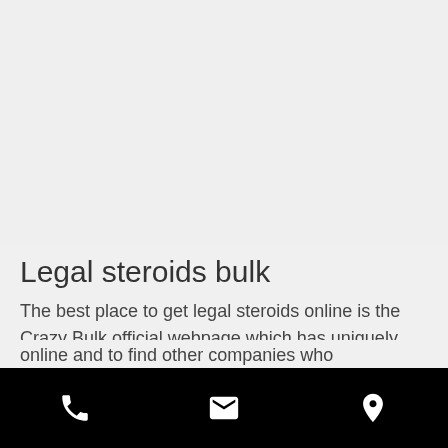Legal steroids bulk
The best place to get legal steroids online is the Crazy Bulk official webpage which has uniquely distinguished all the legal steroids based on the anabolic designs. They provide free samples of the all legal steroids they stock and the site even enables you to test
[phone icon] [email icon] [location icon]
online and to find other companies who